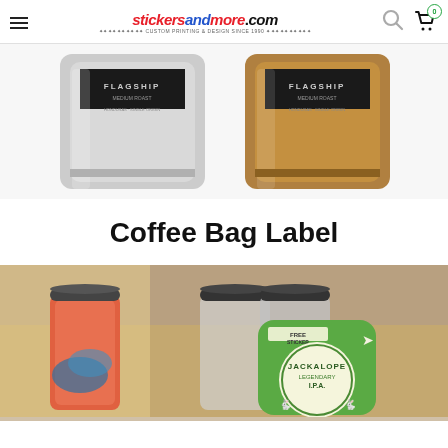stickersandmore.com — CUSTOM PRINTING & DESIGN SINCE 1990
[Figure (photo): Two coffee bags with FLAGSHIP labels — one silver/grey bag and one kraft brown bag — shown against a white background.]
Coffee Bag Label
[Figure (photo): Four-pack of craft beer cans with colorful artistic labels. A green hang tag reads 'FREE STICKER / JACKALOPE / LEGENDARY IPA' with rabbit silhouette graphics. Cans have illustrated artwork. Background is blurred workshop setting.]